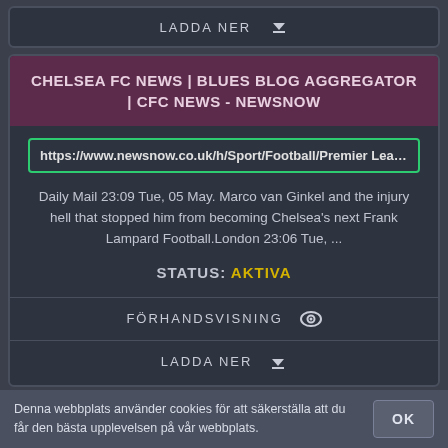LADDA NER ↓
CHELSEA FC NEWS | BLUES BLOG AGGREGATOR | CFC NEWS - NEWSNOW
https://www.newsnow.co.uk/h/Sport/Football/Premier League/Chelsea/
Daily Mail 23:09 Tue, 05 May. Marco van Ginkel and the injury hell that stopped him from becoming Chelsea's next Frank Lampard Football.London 23:06 Tue, ...
STATUS: AKTIVA
FÖRHANDSVISNING 👁
LADDA NER ↓
Denna webbplats använder cookies för att säkerställa att du får den bästa upplevelsen på vår webbplats.